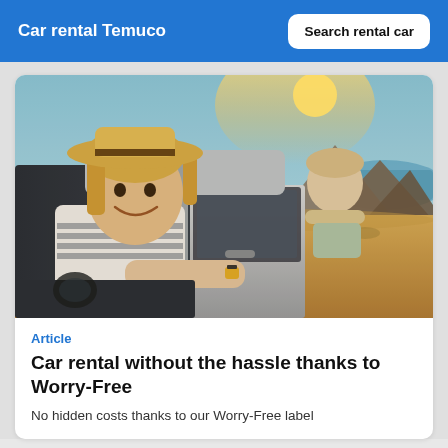Car rental Temuco
Search rental car
[Figure (photo): A smiling woman wearing a straw hat sitting in the driver seat of a car with the window open, leaning out. A young child is visible from the back seat leaning out as well. The background shows a scenic arid coastal landscape with mountains and blue ocean.]
Article
Car rental without the hassle thanks to Worry-Free
No hidden costs thanks to our Worry-Free label